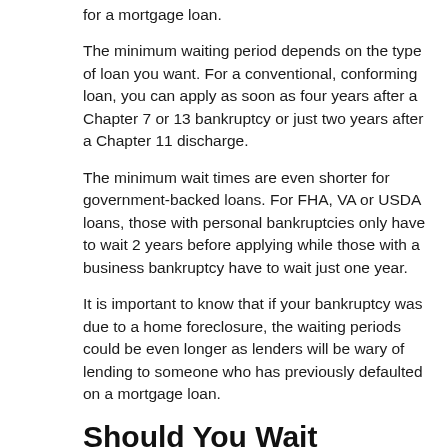for a mortgage loan.
The minimum waiting period depends on the type of loan you want. For a conventional, conforming loan, you can apply as soon as four years after a Chapter 7 or 13 bankruptcy or just two years after a Chapter 11 discharge.
The minimum wait times are even shorter for government-backed loans. For FHA, VA or USDA loans, those with personal bankruptcies only have to wait 2 years before applying while those with a business bankruptcy have to wait just one year.
It is important to know that if your bankruptcy was due to a home foreclosure, the waiting periods could be even longer as lenders will be wary of lending to someone who has previously defaulted on a mortgage loan.
Should You Wait Longer?
Of course, if you apply for a mortgage after the minimum amount of waiting you will likely be offered higher interest rates and possibly even be asked to contribute higher down payments than if you waited longer. Interest rates